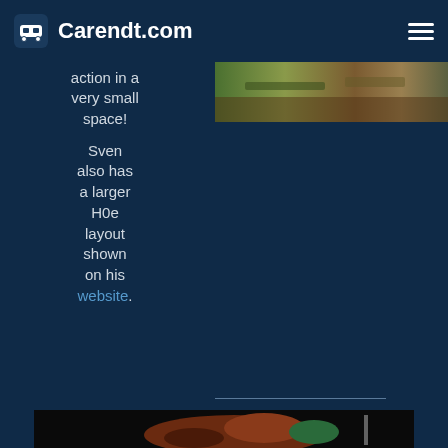Carendt.com
[Figure (photo): Top partial photo strip showing a model railway scene with green and brown tones]
action in a very small space!
Sven also has a larger H0e layout shown on his website.
[Figure (photo): Bottom photo showing a dark scene with reddish-brown and green objects, likely a model railway diorama]